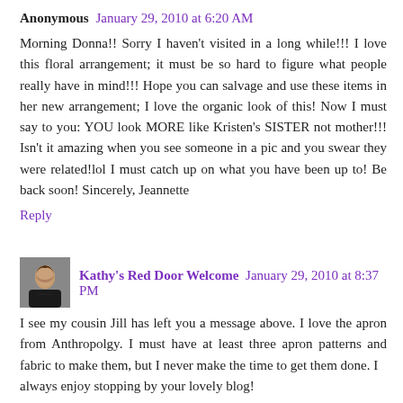Anonymous  January 29, 2010 at 6:20 AM
Morning Donna!! Sorry I haven't visited in a long while!!! I love this floral arrangement; it must be so hard to figure what people really have in mind!!! Hope you can salvage and use these items in her new arrangement; I love the organic look of this! Now I must say to you: YOU look MORE like Kristen's SISTER not mother!!! Isn't it amazing when you see someone in a pic and you swear they were related!lol I must catch up on what you have been up to! Be back soon! Sincerely, Jeannette
Reply
Kathy's Red Door Welcome  January 29, 2010 at 8:37 PM
I see my cousin Jill has left you a message above. I love the apron from Anthropolgy. I must have at least three apron patterns and fabric to make them, but I never make the time to get them done. I always enjoy stopping by your lovely blog!